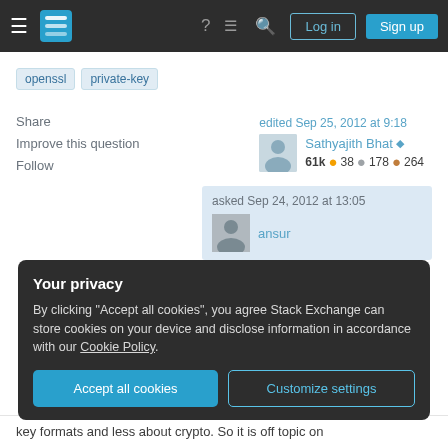Stack Exchange navigation bar with Log in and Sign up buttons
openssl
private-key
Share
Improve this question
Follow
edited Sep 25, 2012 at 9:18 | Sathyajith Bhat ♦ | 61k • 38 • 178 • 264
asked Sep 24, 2012 at 13:05 | ansur
Your privacy
By clicking "Accept all cookies", you agree Stack Exchange can store cookies on your device and disclose information in accordance with our Cookie Policy.
Accept all cookies   Customize settings
key formats and less about crypto. So it is off topic on